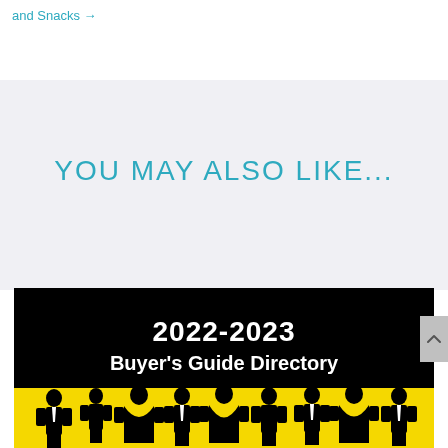and Snacks →
YOU MAY ALSO LIKE...
[Figure (illustration): Book cover for 2022-2023 Buyer's Guide Directory showing white bold text on black background above a yellow bar with silhouettes of business professionals]